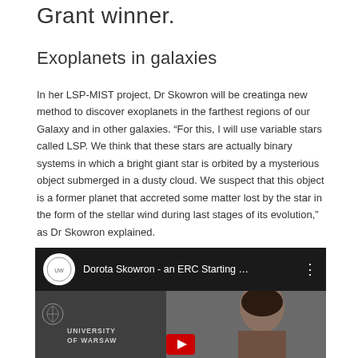Grant winner.
Exoplanets in galaxies
In her LSP-MIST project, Dr Skowron will be creatinga new method to discover exoplanets in the farthest regions of our Galaxy and in other galaxies. “For this, I will use variable stars called LSP. We think that these stars are actually binary systems in which a bright giant star is orbited by a mysterious object submerged in a dusty cloud. We suspect that this object is a former planet that accreted some matter lost by the star in the form of the stellar wind during last stages of its evolution,” as Dr Skowron explained.
[Figure (screenshot): YouTube video thumbnail showing 'Dorota Skowron - an ERC Starting ...' with University of Warsaw logo and a woman's face partially visible.]